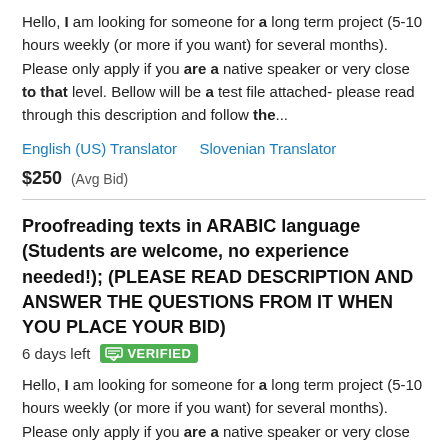Hello, I am looking for someone for a long term project (5-10 hours weekly (or more if you want) for several months). Please only apply if you are a native speaker or very close to that level. Bellow will be a test file attached- please read through this description and follow the...
English (US) Translator   Slovenian Translator
$250  (Avg Bid)
Proofreading texts in ARABIC language (Students are welcome, no experience needed!); (PLEASE READ DESCRIPTION AND ANSWER THE QUESTIONS FROM IT WHEN YOU PLACE YOUR BID)  6 days left  VERIFIED
Hello, I am looking for someone for a long term project (5-10 hours weekly (or more if you want) for several months). Please only apply if you are a native speaker or very close to that level. Bellow will be a test file attached...